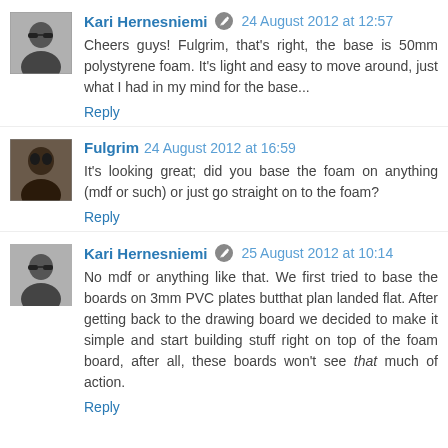Kari Hernesniemi [edit icon] 24 August 2012 at 12:57
Cheers guys! Fulgrim, that's right, the base is 50mm polystyrene foam. It's light and easy to move around, just what I had in my mind for the base...
Reply
Fulgrim 24 August 2012 at 16:59
It's looking great; did you base the foam on anything (mdf or such) or just go straight on to the foam?
Reply
Kari Hernesniemi [edit icon] 25 August 2012 at 10:14
No mdf or anything like that. We first tried to base the boards on 3mm PVC plates butthat plan landed flat. After getting back to the drawing board we decided to make it simple and start building stuff right on top of the foam board, after all, these boards won't see that much of action.
Reply